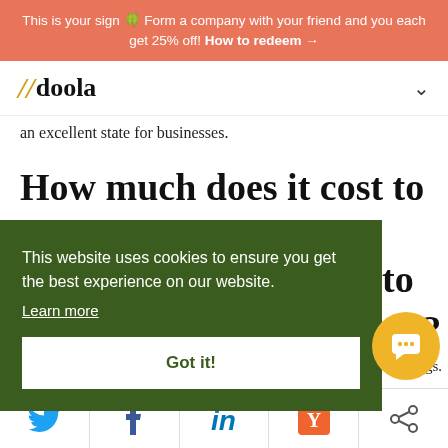This is your sign 🍀 Form a company with your friend and you each get 25% off! How to redeem →
[Figure (logo): doola logo with double slash in gold/yellow]
an excellent state for businesses.
How much does it cost to ...ng?
This website uses cookies to ensure you get the best experience on our website.
Learn more
Got it!
ilings.
[Figure (other): Social share bar with Twitter, Facebook, LinkedIn, Hacker News, and generic share icons]